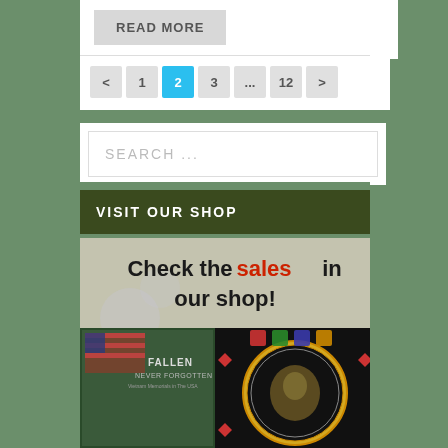READ MORE
< 1 2 3 ... 12 >
SEARCH ...
VISIT OUR SHOP
[Figure (illustration): Shop banner showing text 'Check the sales in our shop!' with images of two books/merchandise: 'Fallen Never Forgotten Vietnam Memorials in the USA' and a Vietnam Veterans patch]